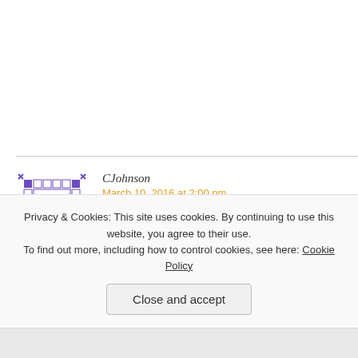[Figure (illustration): Purple pixel/film-strip style avatar icon for user CJohnson]
CJohnson
March 10, 2016 at 2:00 pm
Hello Deborah…I was guided here too lost my father to suicide, however actually found him after the act. I, of a disease that no one knew he years into my journey, I can tell yo Father's Day and special events w heart, but you survive and come b
Privacy & Cookies: This site uses cookies. By continuing to use this website, you agree to their use.
To find out more, including how to control cookies, see here: Cookie Policy
Close and accept